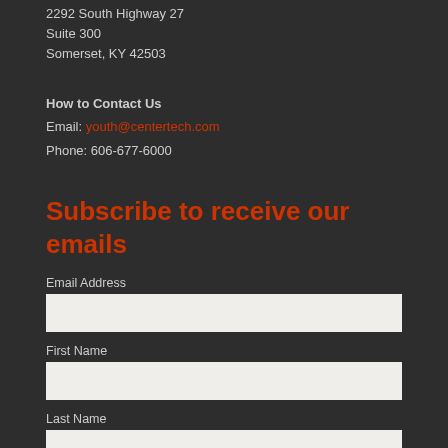2292 South Highway 27
Suite 300
Somerset, KY 42503
How to Contact Us
Email: youth@centertech.com
Phone: 606-677-6000
Subscribe to receive our emails
Email Address
First Name
Last Name